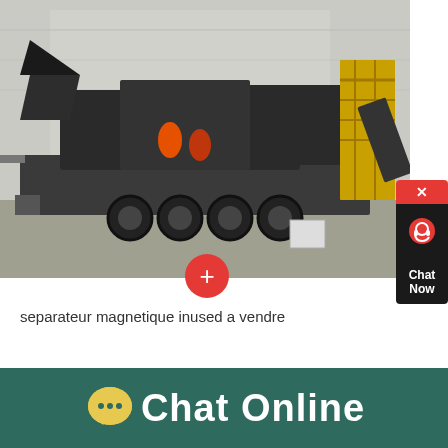[Figure (photo): Aerial/elevated view of a large mobile crushing/processing machine (dark grey heavy machinery on a flatbed truck/trailer) parked in an industrial yard next to a building. Workers in orange vests visible. Yellow scaffolding structure on right side.]
+
separateur magnetique inused a vendre
[Figure (other): Chat Now sidebar widget — red close button with X, dark background with chat/headset icon, 'Chat Now' label in white text]
[Figure (other): Chat Online footer bar — teal/dark green background, yellow chat bubble icon with ellipsis, white text 'Chat Online']